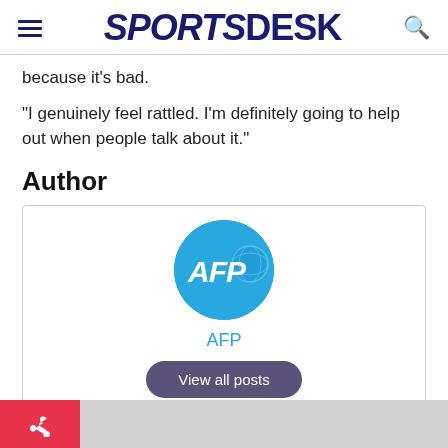SPORTSDESK
because it’s bad.
“I genuinely feel rattled. I’m definitely going to help out when people talk about it.”
Author
[Figure (logo): AFP logo — blue circle with white italic AFP text and globe graphic. Below the circle: AFP name in blue, and a 'View all posts' button with dark purple rounded background.]